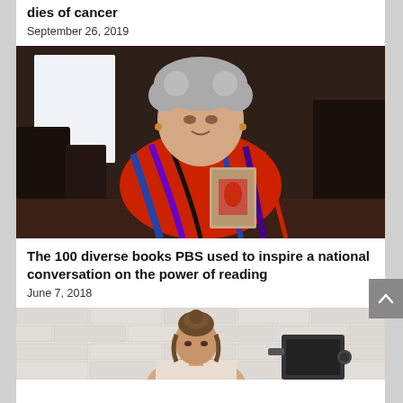dies of cancer
September 26, 2019
[Figure (photo): Elderly woman with curly gray hair wearing a colorful red and blue patterned jacket, holding a book, seated indoors with a warm background.]
The 100 diverse books PBS used to inspire a national conversation on the power of reading
June 7, 2018
[Figure (photo): Young woman with brown hair in a bun, photographed from the torso up, white brick wall background, with a device or equipment partially visible to the right.]